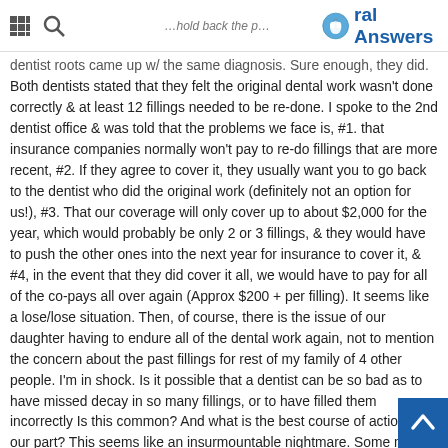Oral Answers [navigation header with grid icon, search icon, and logo]
dentist roots came up w/ the same diagnosis. Sure enough, they did. Both dentists stated that they felt the original dental work wasn't done correctly & at least 12 fillings needed to be re-done. I spoke to the 2nd dentist office & was told that the problems we face is, #1. that insurance companies normally won't pay to re-do fillings that are more recent, #2. If they agree to cover it, they usually want you to go back to the dentist who did the original work (definitely not an option for us!), #3. That our coverage will only cover up to about $2,000 for the year, which would probably be only 2 or 3 fillings, & they would have to push the other ones into the next year for insurance to cover it, & #4, in the event that they did cover it all, we would have to pay for all of the co-pays all over again (Approx $200 + per filling). It seems like a lose/lose situation. Then, of course, there is the issue of our daughter having to endure all of the dental work again, not to mention the concern about the past fillings for rest of my family of 4 other people. I'm in shock. Is it possible that a dentist can be so bad as to have missed decay in so many fillings, or to have filled them incorrectly Is this common? And what is the best course of action on our part? This seems like an insurmountable nightmare. Some may suggest the easiest thing would be to let the original